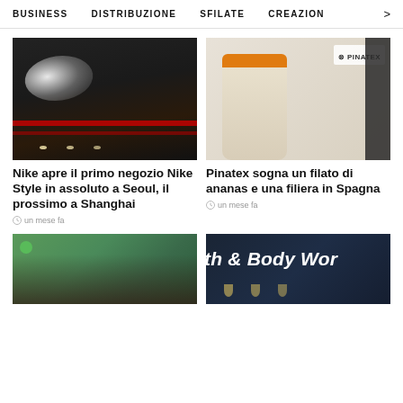BUSINESS   DISTRIBUZIONE   SFILATE   CREAZION   >
[Figure (photo): Nike store interior with illuminated Nike swoosh logo and red railings]
Nike apre il primo negozio Nike Style in assoluto a Seoul, il prossimo a Shanghai
un mese fa
[Figure (photo): Pinatex yarn spool with orange top at exhibition booth with Pinatex branding]
Pinatex sogna un filato di ananas e una filiera in Spagna
un mese fa
[Figure (photo): Crowd of people at a retail/fashion event]
[Figure (photo): Bath and Body Works store interior sign]